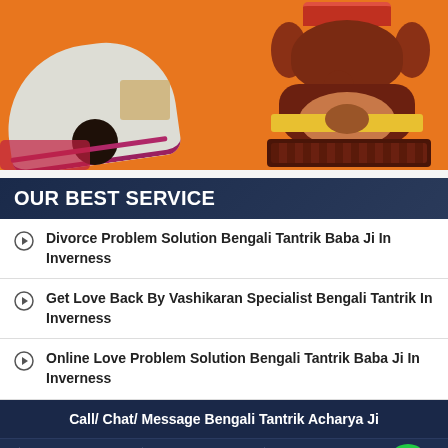[Figure (photo): Religious scene: person bowing in white saree on left, Ganesha statue on orange background on right]
OUR BEST SERVICE
Divorce Problem Solution Bengali Tantrik Baba Ji In Inverness
Get Love Back By Vashikaran Specialist Bengali Tantrik In Inverness
Online Love Problem Solution Bengali Tantrik Baba Ji In Inverness
Call/ Chat/ Message Bengali Tantrik Acharya Ji
[Figure (infographic): Bottom icon bar with phone, WhatsApp, share, and chat icons on dark navy background]